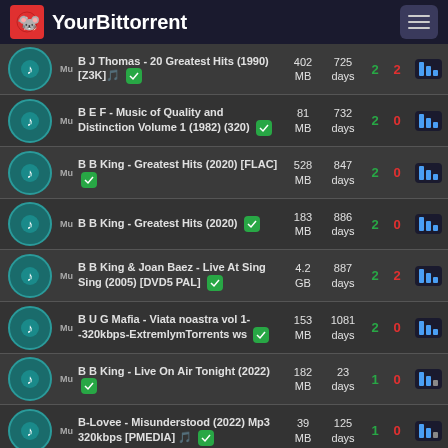YourBittorrent
| Name | Size | Age | Seeds | Leeches |  |
| --- | --- | --- | --- | --- | --- |
| B J Thomas - 20 Greatest Hits (1990) [Z3K] | 402 MB | 725 days | 2 | 2 |  |
| B E F - Music of Quality and Distinction Volume 1 (1982) (320) | 81 MB | 732 days | 2 | 0 |  |
| B B King - Greatest Hits (2020) [FLAC] | 528 MB | 847 days | 2 | 0 |  |
| B B King - Greatest Hits (2020) | 183 MB | 886 days | 2 | 0 |  |
| B B King & Joan Baez - Live At Sing Sing (2005) [DVD5 PAL] | 4.2 GB | 887 days | 2 | 2 |  |
| B U G Mafia - Viata noastra vol 1--320kbps-ExtremlymTorrents ws | 153 MB | 1081 days | 2 | 0 |  |
| B B King - Live On Air Tonight (2022) | 182 MB | 23 days | 1 | 0 |  |
| B-Lovee - Misunderstood (2022) Mp3 320kbps [PMEDIA] | 39 MB | 125 days | 1 | 0 |  |
| B J Thomas - In Remembrance--Love | 75 | 143 | 1 | 0 |  |